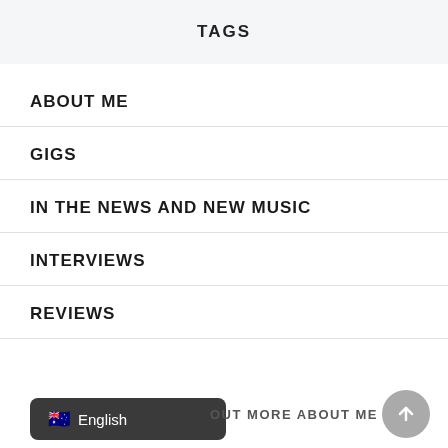TAGS
ABOUT ME
GIGS
IN THE NEWS AND NEW MUSIC
INTERVIEWS
REVIEWS
English  OUT MORE ABOUT ME